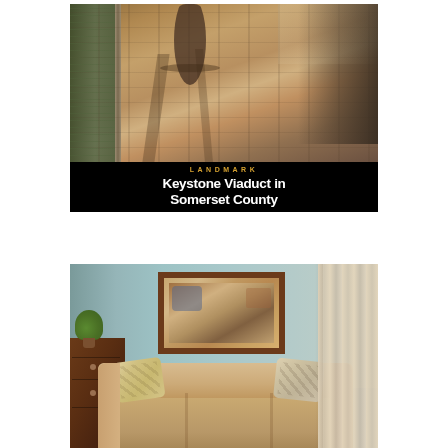[Figure (photo): Top photo: Cyclists on a brick pedestrian/bike path on the Keystone Viaduct in Somerset County. View from behind showing two cyclists on a wide brick-paved bridge path with metal railing on the left. Sunny day with strong shadows.]
LANDMARK
Keystone Viaduct in Somerset County
[Figure (photo): Bottom photo: Interior of a living room with light blue walls, a beige/tan upholstered sofa with decorative pillows, a dark wood dresser/chest on the left with a green plant, a framed artwork on the wall above the sofa, and curtains on the right.]